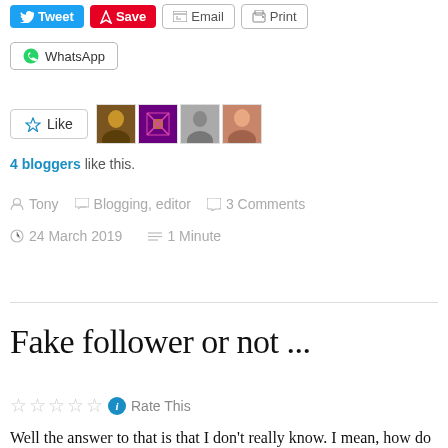[Figure (screenshot): Social sharing buttons row: Tweet (blue), Save (red), Email (outline), Print (outline)]
[Figure (screenshot): WhatsApp sharing button]
[Figure (screenshot): Like button with star icon and 4 blogger avatars]
4 bloggers like this.
Tony   Blogging, editor   3 Comments
24 March 2019   1 Minute
Fake follower or not ...
Rate This
Well the answer to that is that I don't really know. I mean, how do you tell?